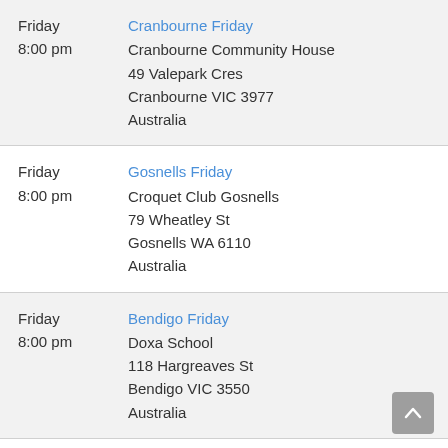| Day/Time | Meeting Name | Address |
| --- | --- | --- |
| Friday
8:00 pm | Cranbourne Friday | Cranbourne Community House
49 Valepark Cres
Cranbourne VIC 3977
Australia |
| Friday
8:00 pm | Gosnells Friday | Croquet Club Gosnells
79 Wheatley St
Gosnells WA 6110
Australia |
| Friday
8:00 pm | Bendigo Friday | Doxa School
118 Hargreaves St
Bendigo VIC 3550
Australia |
| Friday
8:00 pm | Doncaster Friday | East Doncaster Baptist Church
47-53 Tunstall Rd |